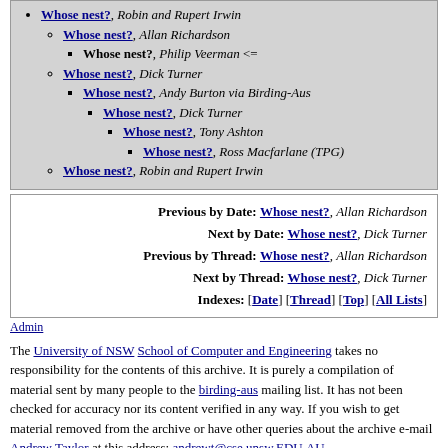Whose nest?, Robin and Rupert Irwin
Whose nest?, Allan Richardson
Whose nest?, Philip Veerman <=
Whose nest?, Dick Turner
Whose nest?, Andy Burton via Birding-Aus
Whose nest?, Dick Turner
Whose nest?, Tony Ashton
Whose nest?, Ross Macfarlane (TPG)
Whose nest?, Robin and Rupert Irwin
| Previous by Date: | Whose nest?, Allan Richardson |
| Next by Date: | Whose nest?, Dick Turner |
| Previous by Thread: | Whose nest?, Allan Richardson |
| Next by Thread: | Whose nest?, Dick Turner |
| Indexes: | [Date] [Thread] [Top] [All Lists] |
Admin
The University of NSW School of Computer and Engineering takes no responsibility for the contents of this archive. It is purely a compilation of material sent by many people to the birding-aus mailing list. It has not been checked for accuracy nor its content verified in any way. If you wish to get material removed from the archive or have other queries about the archive e-mail Andrew Taylor at this address: andrewt@cse.unsw.EDU.AU